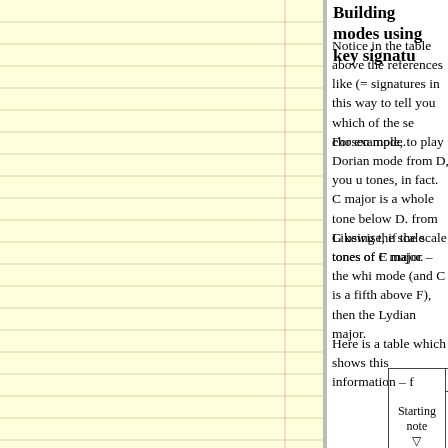Building modes using key signatures
Notice in the table above the references like (= signatures in this way to tell you which of the se chosen mode.
For example, to play Dorian mode from D, you u tones, in fact. C major is a whole tone below D. from G using the scale tones of F major.
Likewise, if the scale tones of C major – the whi mode (and C is a fifth above F), then the Lydian major.
Here is a table which shows this information – f
| Starting note | Mode | Ionian (C to C) | Dorian (D to D) | Phrygian (E to E) |
| --- | --- | --- | --- | --- |
| C | C | Bb | Ab |